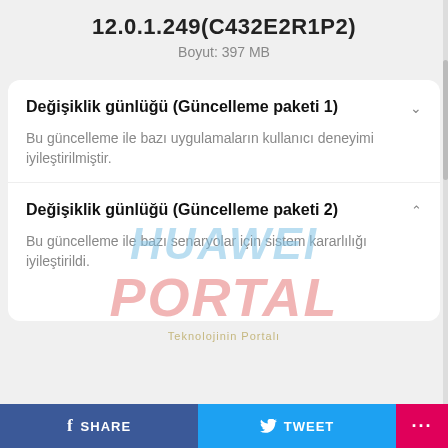12.0.1.249(C432E2R1P2)
Boyut: 397 MB
Değişiklik günlüğü (Güncelleme paketi 1)
Bu güncelleme ile bazı uygulamaların kullanıcı deneyimi iyileştirilmiştir.
[Figure (logo): HUAWEI PORTAL watermark overlay with text 'Teknolojinin Portalı']
Değişiklik günlüğü (Güncelleme paketi 2)
Bu güncelleme ile bazı senaryolar için sistem kararlılığı iyileştirildi.
SHARE   TWEET   ...